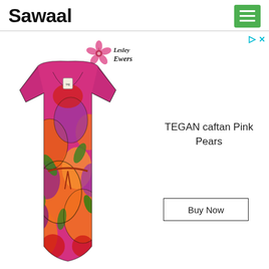Sawaal
[Figure (logo): Lesley Evers brand logo with pink hibiscus flower and script text]
[Figure (photo): TEGAN caftan in Pink Pears print — colorful floral caftan dress with orange, pink, purple, red and green botanical pattern, belted at waist]
TEGAN caftan Pink Pears
Buy Now